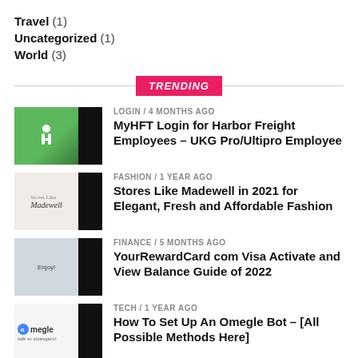Travel (1)
Uncategorized (1)
World (3)
TRENDING
LOGIN / 4 months ago
MyHFT Login for Harbor Freight Employees – UKG Pro/Ultipro Employee
FASHION / 1 year ago
Stores Like Madewell in 2021 for Elegant, Fresh and Affordable Fashion
FINANCE / 5 months ago
YourRewardCard com Visa Activate and View Balance Guide of 2022
TECH / 1 year ago
How To Set Up An Omegle Bot – [All Possible Methods Here]
LOGIN / 3 months ago